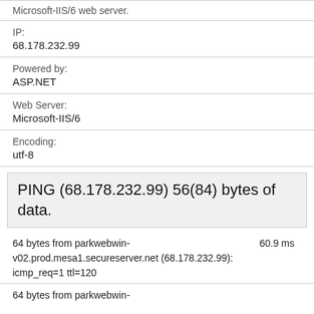Microsoft-IIS/6 web server.
IP:
68.178.232.99
Powered by:
ASP.NET
Web Server:
Microsoft-IIS/6
Encoding:
utf-8
PING (68.178.232.99) 56(84) bytes of data.
64 bytes from parkwebwin-v02.prod.mesa1.secureserver.net (68.178.232.99): icmp_req=1 ttl=120    60.9 ms
64 bytes from parkwebwin-